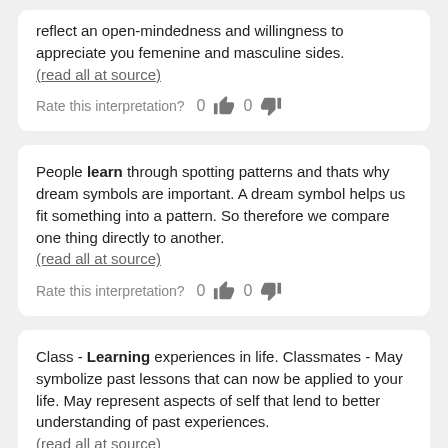reflect an open-mindedness and willingness to appreciate you femenine and masculine sides. (read all at source)
Rate this interpretation? 0 [thumbs up] 0 [thumbs down]
People learn through spotting patterns and thats why dream symbols are important. A dream symbol helps us fit something into a pattern. So therefore we compare one thing directly to another. (read all at source)
Rate this interpretation? 0 [thumbs up] 0 [thumbs down]
Class - Learning experiences in life. Classmates - May symbolize past lessons that can now be applied to your life. May represent aspects of self that lend to better understanding of past experiences. (read all at source)